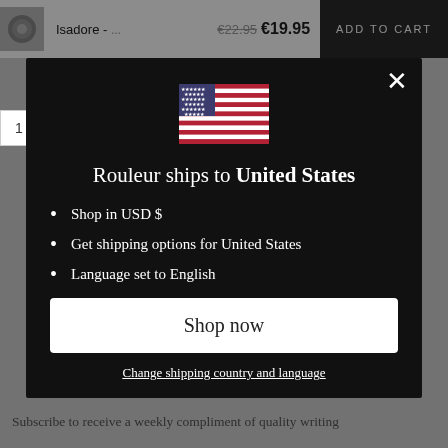Isadore - ... €22.95 €19.95  ADD TO CART
[Figure (screenshot): US flag emoji / icon shown in modal dialog]
Rouleur ships to United States
Shop in USD $
Get shipping options for United States
Language set to English
Shop now
Change shipping country and language
Subscribe to receive a weekly compliment of quality writing